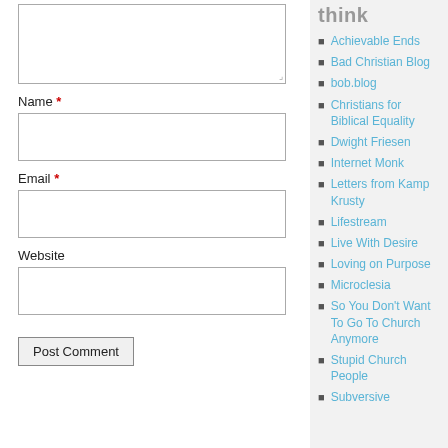[textarea comment box]
Name *
[name input box]
Email *
[email input box]
Website
[website input box]
Post Comment
think
Achievable Ends
Bad Christian Blog
bob.blog
Christians for Biblical Equality
Dwight Friesen
Internet Monk
Letters from Kamp Krusty
Lifestream
Live With Desire
Loving on Purpose
Microclesia
So You Don't Want To Go To Church Anymore
Stupid Church People
Subversive